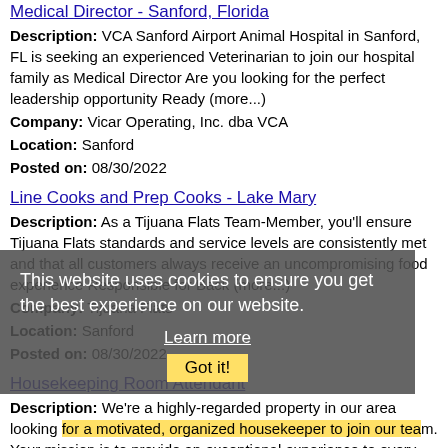Medical Director - Sanford, Florida
Description: VCA Sanford Airport Animal Hospital in Sanford, FL is seeking an experienced Veterinarian to join our hospital family as Medical Director Are you looking for the perfect leadership opportunity Ready (more...)
Company: Vicar Operating, Inc. dba VCA
Location: Sanford
Posted on: 08/30/2022
Line Cooks and Prep Cooks - Lake Mary
Description: As a Tijuana Flats Team-Member, you'll ensure Tijuana Flats standards and service levels are consistently met and that all customers always receive an uncompromising food experience Responsible for Back (more...)
Company: Tijuana Flats
Location: Sanford
Posted on: 08/30/2022
Housekeeping Room Attendant
Description: We're a highly-regarded property in our area looking for a motivated, organized housekeeper to join our team. Your mission is to provide an exceptional experience to every guest who stays with us. Cleaning (more...)
Company: SkyHost Property Management